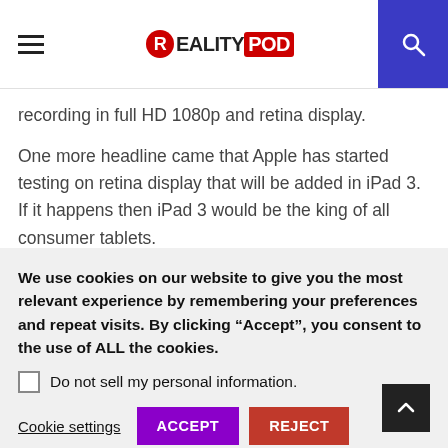RealityPod
recording in full HD 1080p and retina display.
One more headline came that Apple has started testing on retina display that will be added in iPad 3. If it happens then iPad 3 would be the king of all consumer tablets.
We can't say any word regarding iPad 3 release. It also seems that apple will introduce another iPhone for new
We use cookies on our website to give you the most relevant experience by remembering your preferences and repeat visits. By clicking “Accept”, you consent to the use of ALL the cookies.
Do not sell my personal information.
Cookie settings  ACCEPT  REJECT